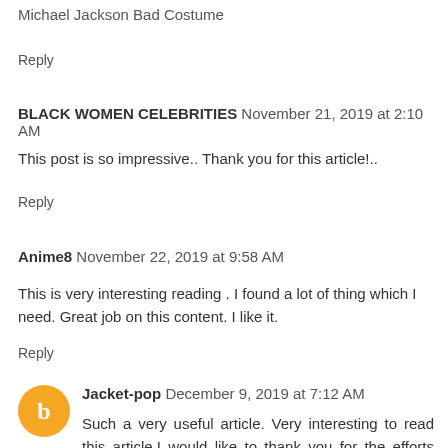Michael Jackson Bad Costume
Reply
BLACK WOMEN CELEBRITIES November 21, 2019 at 2:10 AM
This post is so impressive.. Thank you for this article!..
Reply
Anime8 November 22, 2019 at 9:58 AM
This is very interesting reading . I found a lot of thing which I need. Great job on this content. I like it.
Reply
Jacket-pop December 9, 2019 at 7:12 AM
Such a very useful article. Very interesting to read this article.I would like to thank you for the efforts you had made